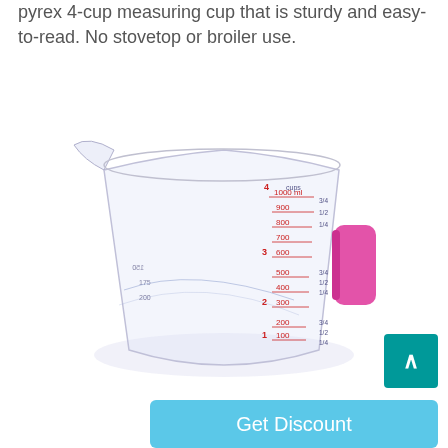pyrex 4-cup measuring cup that is sturdy and easy-to-read. No stovetop or broiler use.
[Figure (photo): A clear plastic/glass Pyrex 4-cup measuring cup with pink handle, shown with measurement markings in red and black on both sides. The cup is transparent and shows cup and ml measurements.]
^ (scroll to top button)
Get Discount